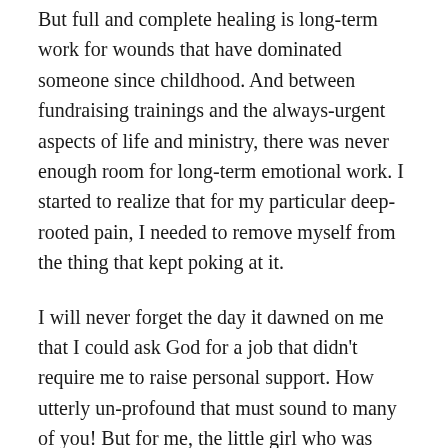But full and complete healing is long-term work for wounds that have dominated someone since childhood. And between fundraising trainings and the always-urgent aspects of life and ministry, there was never enough room for long-term emotional work. I started to realize that for my particular deep-rooted pain, I needed to remove myself from the thing that kept poking at it.
I will never forget the day it dawned on me that I could ask God for a job that didn't require me to raise personal support. How utterly un-profound that must sound to many of you! But for me, the little girl who was afraid to ask for anything she might need or anything that she might take delight in, I was finally asking God my Father for something big.